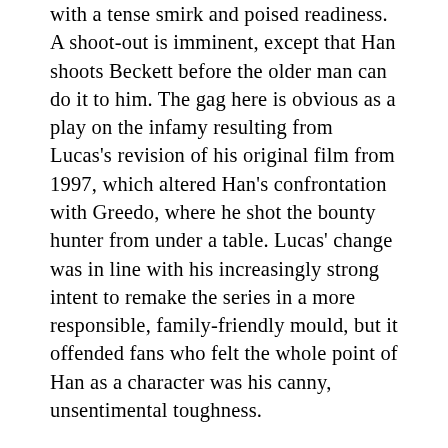…with a tense smirk and poised readiness. A shoot-out is imminent, except that Han shoots Beckett before the older man can do it to him. The gag here is obvious as a play on the infamy resulting from Lucas's revision of his original film from 1997, which altered Han's confrontation with Greedo, where he shot the bounty hunter from under a table. Lucas' change was in line with his increasingly strong intent to remake the series in a more responsible, family-friendly mould, but it offended fans who felt the whole point of Han as a character was his canny, unsentimental toughness.